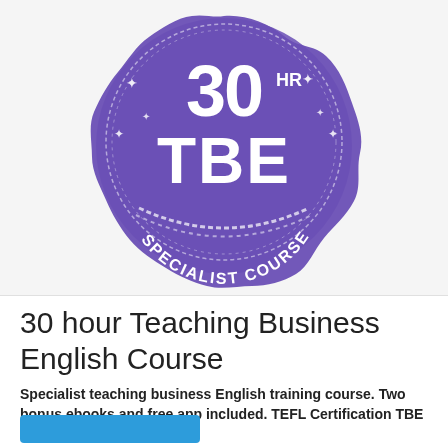[Figure (logo): Purple circular badge/seal with white text reading '30 HR TBE SPECIALIST COURSE' surrounded by stars and a decorative rope border]
30 hour Teaching Business English Course
Specialist teaching business English training course. Two bonus ebooks and free app included. TEFL Certification TBE